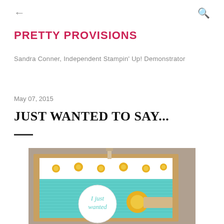← (back) Q (search)
PRETTY PROVISIONS
Sandra Conner, Independent Stampin' Up! Demonstrator
May 07, 2015
JUST WANTED TO SAY...
[Figure (photo): Handmade greeting card with kraft cardstock base, teal/aqua embossed layer, decorative paper strip with yellow sun/daisy pattern, a circular white label with cursive text 'I just wanted' visible, a yellow sunburst/flower embellishment, and a burlap ribbon accent.]